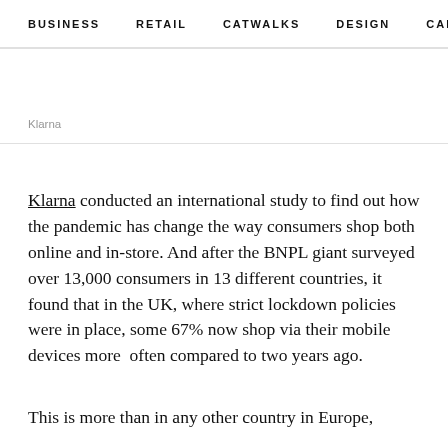BUSINESS   RETAIL   CATWALKS   DESIGN   CAMI  >
Klarna
Klarna conducted an international study to find out how the pandemic has change the way consumers shop both online and in-store. And after the BNPL giant surveyed over 13,000 consumers in 13 different countries, it found that in the UK, where strict lockdown policies were in place, some 67% now shop via their mobile devices more  often compared to two years ago.
This is more than in any other country in Europe,